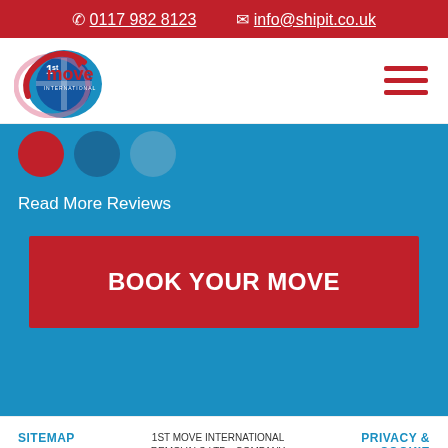0117 982 8123  info@shipit.co.uk
[Figure (logo): 1st Move International logo with globe and arrow graphic]
[Figure (illustration): Three circular avatar placeholders (red, dark blue, light blue)]
Read More Reviews
BOOK YOUR MOVE
SITEMAP   1ST MOVE INTERNATIONAL REMOVALS LTD - COMPANY REGISTRATION 03468184 -   PRIVACY & COOKIE POLICY